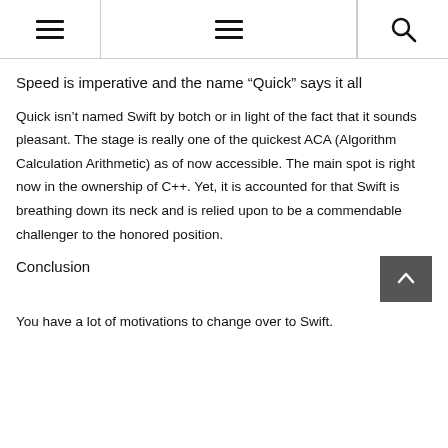≡ ≡ 🔍
Speed is imperative and the name “Quick” says it all
Quick isn’t named Swift by botch or in light of the fact that it sounds pleasant. The stage is really one of the quickest ACA (Algorithm Calculation Arithmetic) as of now accessible. The main spot is right now in the ownership of C++. Yet, it is accounted for that Swift is breathing down its neck and is relied upon to be a commendable challenger to the honored position.
Conclusion
You have a lot of motivations to change over to Swift.